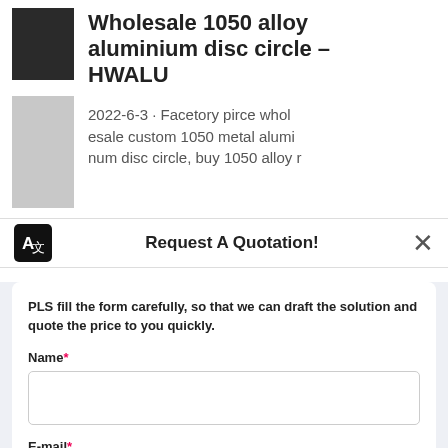Wholesale 1050 alloy aluminium disc circle – HWALU
2022-6-3 · Facetory pirce wholesale custom 1050 metal aluminium disc circle, buy 1050 alloy r
Request A Quotation!
PLS fill the form carefully, so that we can draft the solution and quote the price to you quickly.
Name*
E-mail*